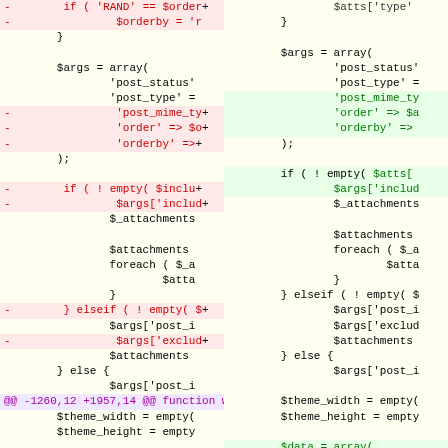[Figure (screenshot): A side-by-side diff view of PHP code (WordPress wp_playlist_shortcode function), showing removed lines in red on a pink background and added lines in green on a green background, with context lines on a light yellow background. The diff shows changes to $args array construction, include/exclude logic, and variable initialization.]